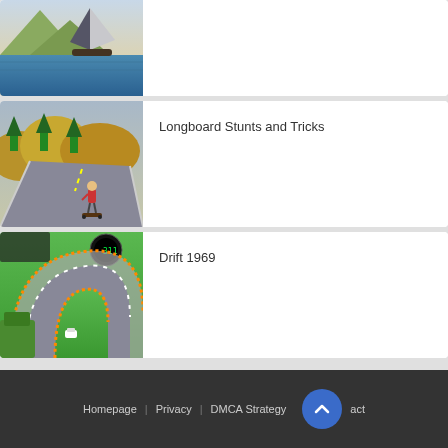[Figure (screenshot): Partial game card showing a sailing/boat game with water and mountain scenery, cropped at top]
Longboard Stunts and Tricks
[Figure (screenshot): Game thumbnail showing a skateboarder on a winding mountain road with trees]
Drift 1969
[Figure (screenshot): Game thumbnail showing an aerial view of a race track with a small white car drifting]
Homepage | Privacy | DMCA Strategy | act